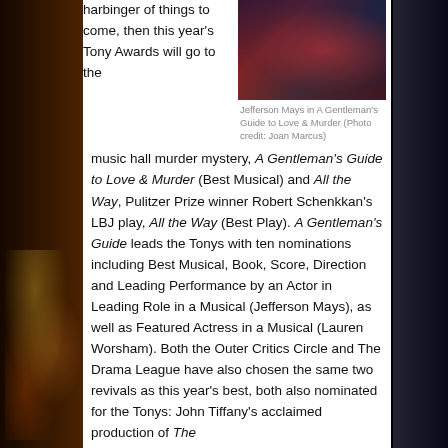harbinger of things to come, then this year's Tony Awards will go to the
[Figure (photo): Photo of Jefferson Mays in A Gentleman's Guide to Love & Murder, stage performance scene with red/dark stage lighting]
Jefferson Mays in A Gentleman's Guide to Love & Murder (Photo credit: Joan Marcus)
music hall murder mystery, A Gentleman's Guide to Love & Murder (Best Musical) and All the Way, Pulitzer Prize winner Robert Schenkkan's LBJ play, All the Way (Best Play). A Gentleman's Guide leads the Tonys with ten nominations including Best Musical, Book, Score, Direction and Leading Performance by an Actor in Leading Role in a Musical (Jefferson Mays), as well as Featured Actress in a Musical (Lauren Worsham). Both the Outer Critics Circle and The Drama League have also chosen the same two revivals as this year's best, both also nominated for the Tonys: John Tiffany's acclaimed production of The